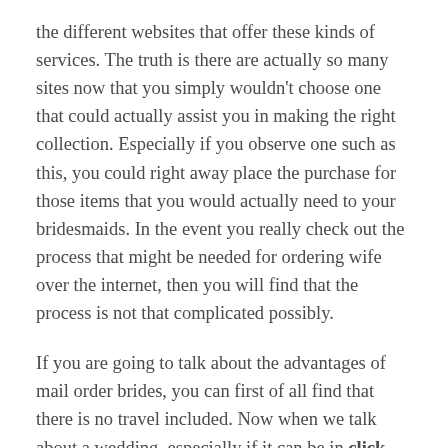the different websites that offer these kinds of services. The truth is there are actually so many sites now that you simply wouldn't choose one that could actually assist you in making the right collection. Especially if you observe one such as this, you could right away place the purchase for those items that you would actually need to your bridesmaids. In the event you really check out the process that might be needed for ordering wife over the internet, then you will find that the process is not that complicated possibly.
If you are going to talk about the advantages of mail order brides, you can first of all find that there is no travel included. Now when we talk about a wedding, especially if it can be in click this another nation, the bride and groom will have to undertake long travel just to get towards the actual venue where the marriage ceremony is going to come about. If you plan to get married in Asia, like in Korea, Asia or Cina, then you will have